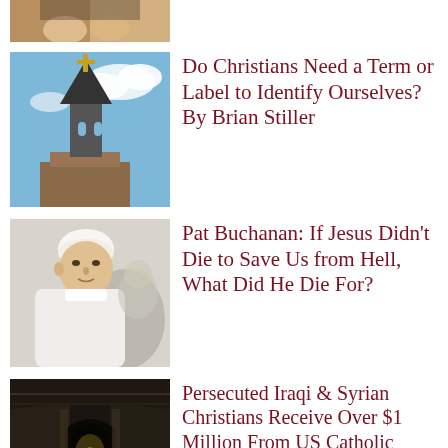[Figure (photo): Partial top image, cropped religious/hands scene]
[Figure (photo): Church steeple with cross against blue sky with clouds]
Do Christians Need a Term or Label to Identify Ourselves? By Brian Stiller
[Figure (photo): Portrait of Pope Francis in white vestments]
Pat Buchanan: If Jesus Didn't Die to Save Us from Hell, What Did He Die For?
[Figure (photo): Dark interior of ancient church or mosque with arched doorways and cross]
Persecuted Iraqi & Syrian Christians Receive Over $1 Million From US Catholic